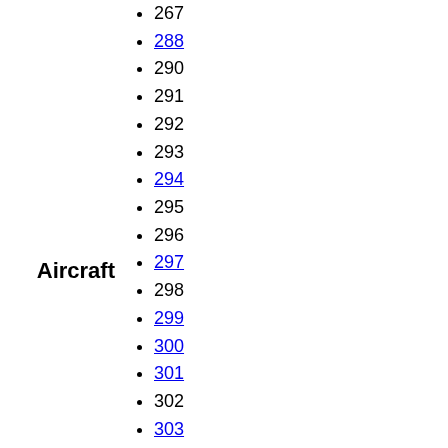267
288
290
291
292
293
294
295
296
297
298
299
300
301
Aircraft
302
303
304
305
306
307
308
309
311
312
314
315